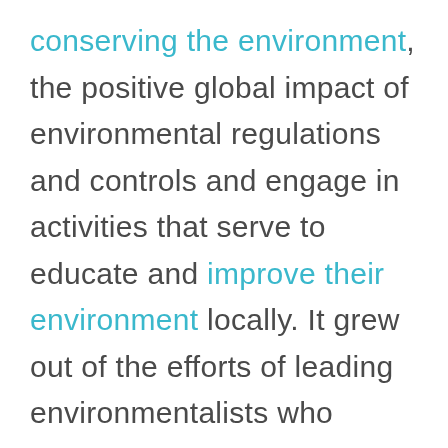conserving the environment, the positive global impact of environmental regulations and controls and engage in activities that serve to educate and improve their environment locally. It grew out of the efforts of leading environmentalists who recognized the need for there to be a coordinated global focus to begin to make conserving the